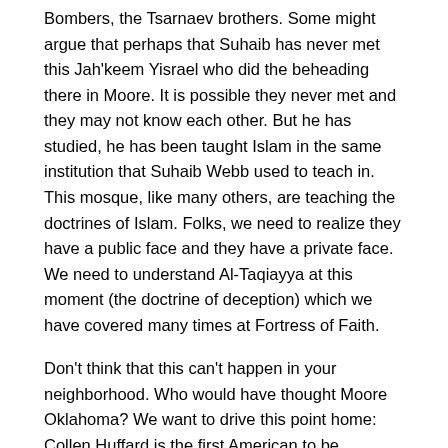Bombers, the Tsarnaev brothers. Some might argue that perhaps that Suhaib has never met this Jah'keem Yisrael who did the beheading there in Moore. It is possible they never met and they may not know each other. But he has studied, he has been taught Islam in the same institution that Suhaib Webb used to teach in. This mosque, like many others, are teaching the doctrines of Islam. Folks, we need to realize they have a public face and they have a private face. We need to understand Al-Taqiayya at this moment (the doctrine of deception) which we have covered many times at Fortress of Faith.
Don't think that this can't happen in your neighborhood. Who would have thought Moore Oklahoma? We want to drive this point home: Collen Huffard is the first American to be beheaded on American soil and our government says, “This isn't Islam. This is just workplace violence.”